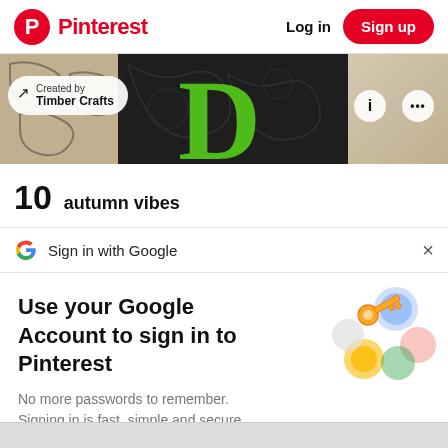Pinterest  Log in  Sign up
[Figure (screenshot): Pinterest pin image area showing decorative crafts with a large green D letter on dark patterned background, with a 'Created by Timber Crafts' attribution bubble and info/more buttons]
10  autumn vibes
G  Sign in with Google  ×
Use your Google Account to sign in to Pinterest
No more passwords to remember.
Signing in is fast, simple and secure.
[Figure (illustration): Google key illustration with colorful circles and a gold key]
Continue